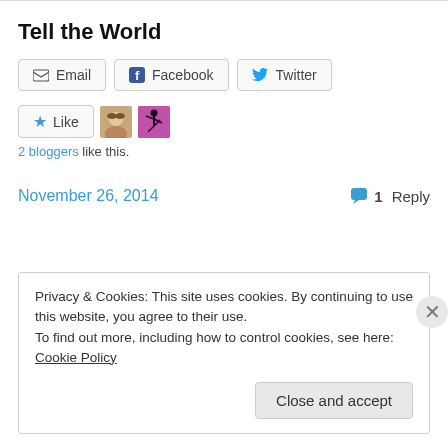Tell the World
Email  Facebook  Twitter (share buttons)
[Figure (other): Like button with star icon, and two blogger avatars (a woman's photo and a yoga silhouette)]
2 bloggers like this.
November 26, 2014    💬 1 Reply
Privacy & Cookies: This site uses cookies. By continuing to use this website, you agree to their use.
To find out more, including how to control cookies, see here: Cookie Policy
Close and accept